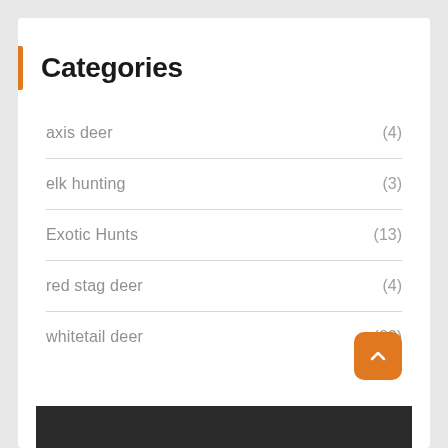Categories
axis deer (4)
elk hunting (3)
Exotic Hunts (13)
red stag deer (4)
whitetail deer (23)